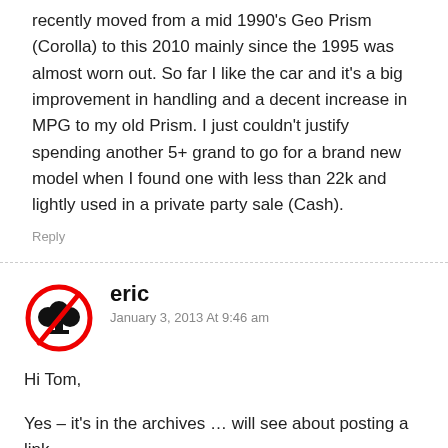recently moved from a mid 1990's Geo Prism (Corolla) to this 2010 mainly since the 1995 was almost worn out. So far I like the car and it's a big improvement in handling and a decent increase in MPG to my old Prism. I just couldn't justify spending another 5+ grand to go for a brand new model when I found one with less than 22k and lightly used in a private party sale (Cash).
Reply
eric
January 3, 2013 At 9:46 am
Hi Tom,
Yes – it's in the archives … will see about posting a link…
The 2010 (and current) car is still a good car but